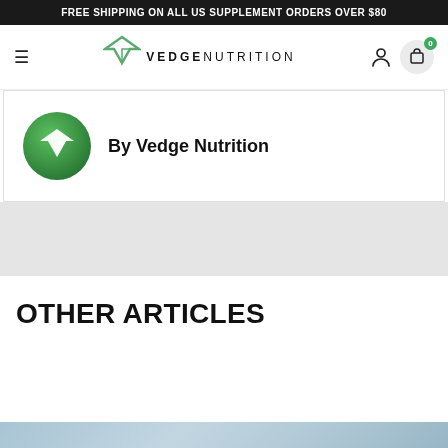FREE SHIPPING ON ALL US SUPPLEMENT ORDERS OVER $80
[Figure (logo): Vedge Nutrition logo with hamburger menu, V chevron icon, VEDGE NUTRITION wordmark, user icon, and cart icon with badge showing 0]
By Vedge Nutrition
OTHER ARTICLES
[Figure (photo): Bottom strip of a photo, partial view]